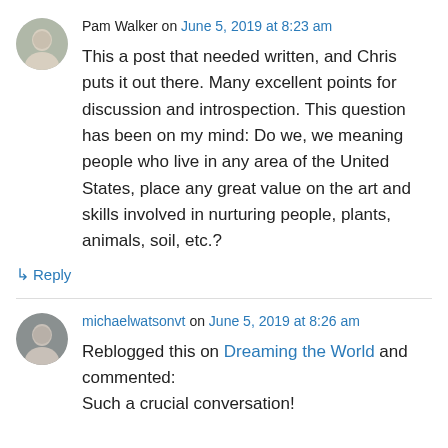Pam Walker on June 5, 2019 at 8:23 am
This a post that needed written, and Chris puts it out there. Many excellent points for discussion and introspection. This question has been on my mind: Do we, we meaning people who live in any area of the United States, place any great value on the art and skills involved in nurturing people, plants, animals, soil, etc.?
↳ Reply
michaelwatsonvt on June 5, 2019 at 8:26 am
Reblogged this on Dreaming the World and commented:
Such a crucial conversation!